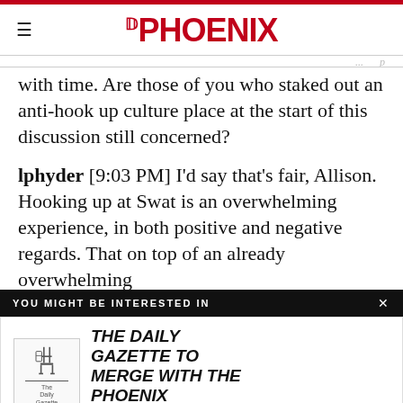THE PHOENIX
with time. Are those of you who staked out an anti-hook up culture place at the start of this discussion still concerned?
lphyder [9:03 PM] I'd say that's fair, Allison. Hooking up at Swat is an overwhelming experience, in both positive and negative regards. That on top of an already overwhelming
[Figure (screenshot): A popup advertisement overlay reading 'YOU MIGHT BE INTERESTED IN' with an article preview for 'THE DAILY GAZETTE TO MERGE WITH THE PHOENIX' including a thumbnail image of The Daily Gazette logo.]
produces ebbs
cal and
an't speak to
ed tend to rely
iety of stres
we face and the manifestation of that